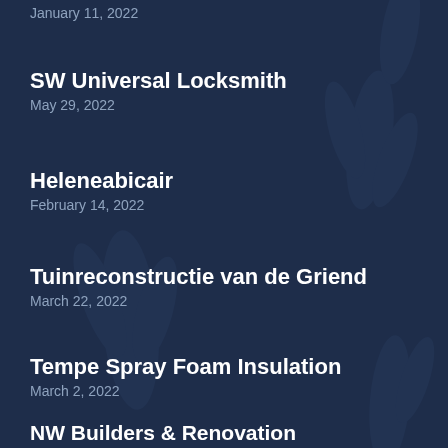January 11, 2022
SW Universal Locksmith
May 29, 2022
Heleneabicair
February 14, 2022
Tuinreconstructie van de Griend
March 22, 2022
Tempe Spray Foam Insulation
March 2, 2022
NW Builders & Renovation
January 23, 2022